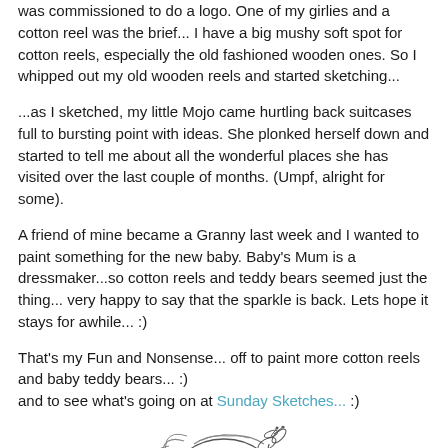was commissioned to do a logo.  One of my girlies and a cotton reel was the brief... I have a big mushy soft spot for cotton reels, especially the old fashioned wooden ones.  So I whipped out my old wooden reels and started sketching...
...as I sketched, my little Mojo came hurtling back suitcases full to bursting point with ideas. She plonked herself down and started to tell me about all the wonderful places she has visited over the last couple of months. (Umpf, alright for some).
A friend of mine became a Granny last week and I wanted to paint something for the new baby. Baby's Mum is a dressmaker...so cotton reels and teddy bears seemed just the thing... very happy to say that the sparkle is back.  Lets hope it stays for awhile... :)
That's my Fun and Nonsense... off to paint more cotton reels and baby teddy bears... :)
and to see what's going on at Sunday Sketches... :)
[Figure (illustration): Partial sketch illustration of a character (appears to be a girl with a bow/dragonfly in hair), shown from approximately the shoulders up, line drawing style]